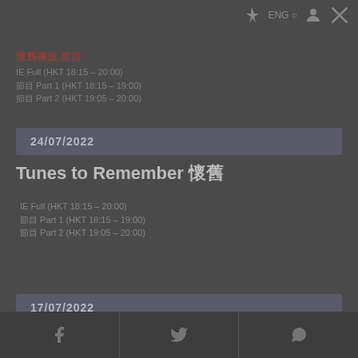ENG  [user icon]  [close X]
IE Full (HKT 18:15 – 20:00)
節目 Part 1 (HKT 18:15 – 19:00)
節目 Part 2 (HKT 19:05 – 20:00)
24/07/2022
Tunes to Remember 懷舊
IE Full (HKT 18:15 – 20:00)
節目 Part 1 (HKT 18:15 – 19:00)
節目 Part 2 (HKT 19:05 – 20:00)
17/07/2022
[Figure (screenshot): Bottom social sharing bar with Facebook, Twitter, and WhatsApp icons]